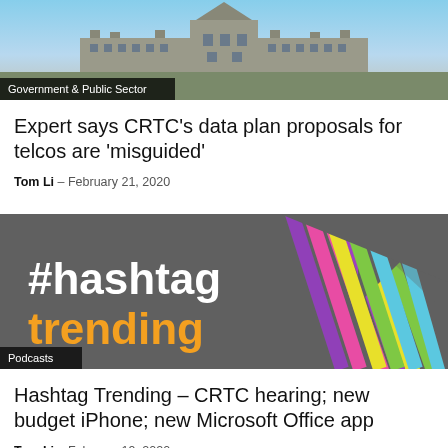[Figure (photo): Parliament building with blue sky, tagged Government & Public Sector]
Expert says CRTC’s data plan proposals for telcos are ‘misguided’
Tom Li – February 21, 2020
[Figure (illustration): Hashtag Trending podcast logo on dark grey background with colorful arrow stripes, tagged Podcasts]
Hashtag Trending – CRTC hearing; new budget iPhone; new Microsoft Office app
Tom Li – February 19, 2020